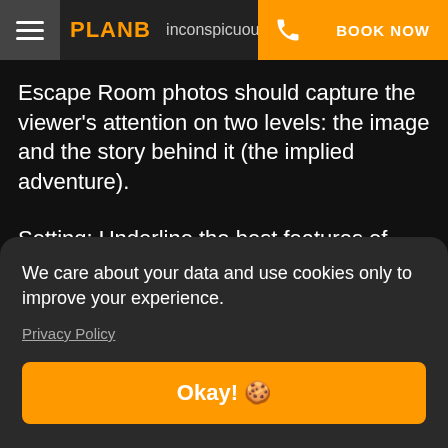PLAN B — Navigation bar with hamburger menu, phone icon, and BOOK NOW button
Escape Room photos should capture the viewer's attention on two levels: the image and the story behind it (the implied adventure).
Setting: Underline the best features of your Escape Room
Escape Dream Players want to immerse themselves in another world.
S
We care about your data and use cookies only to improve your experience.
Privacy Policy
Okay! 🍪